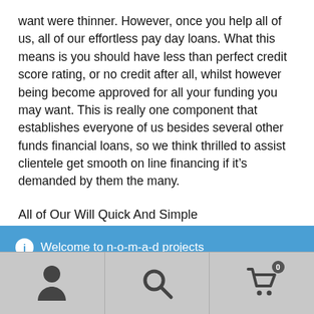want were thinner. However, once you help all of us, all of our effortless pay day loans. What this means is you should have less than perfect credit score rating, or no credit after all, whilst however being become approved for all your funding you may want. This is really one component that establishes everyone of us besides several other funds financial loans, so we think thrilled to assist clientele get smooth on line financing if it's demanded by them the many.
All of Our Will Quick And Simple
Welcome to n-o-m-a-d projects
Dismiss